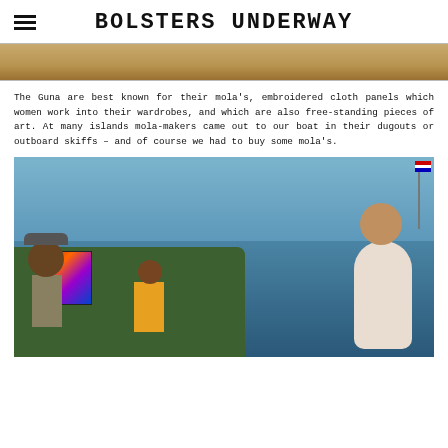BOLSTERS UNDERWAY
[Figure (photo): Top edge of a wooden surface, likely a boat deck or plank, shown as a narrow horizontal strip]
The Guna are best known for their mola's, embroidered cloth panels which women work into their wardrobes, and which are also free-standing pieces of art. At many islands mola-makers came out to our boat in their dugouts or outboard skiffs – and of course we had to buy some mola's.
[Figure (photo): A woman in a white shirt on a sailboat, with Guna mola sellers in a dugout alongside, holding up colorful mola textile panels for sale, set against open water]